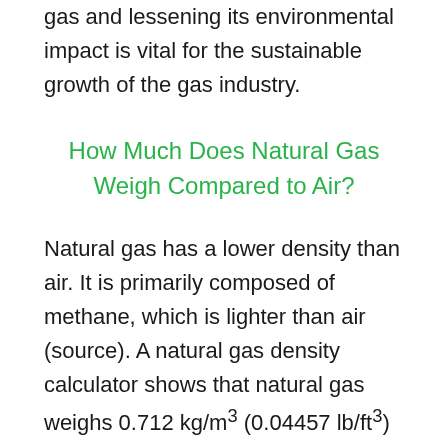gas and lessening its environmental impact is vital for the sustainable growth of the gas industry.
How Much Does Natural Gas Weigh Compared to Air?
Natural gas has a lower density than air. It is primarily composed of methane, which is lighter than air (source). A natural gas density calculator shows that natural gas weighs 0.712 kg/m³ (0.04457 lb/ft³) vs. 1.204 kg/m³ (0.07516